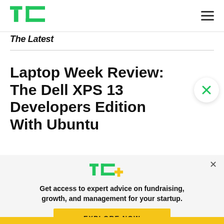TechCrunch – The Latest
The Latest
Laptop Week Review: The Dell XPS 13 Developers Edition With Ubuntu
[Figure (logo): TechCrunch TC+ logo with green lettering and gold plus sign]
Get access to expert advice on fundraising, growth, and management for your startup.
EXPLORE NOW